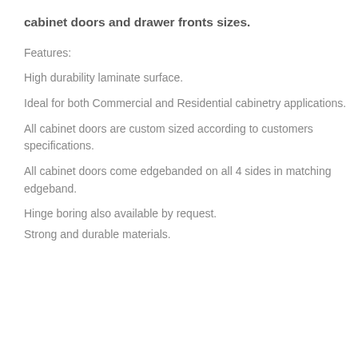cabinet doors and drawer fronts sizes.
Features:
High durability laminate surface.
Ideal for both Commercial and Residential cabinetry applications.
All cabinet doors are custom sized according to customers specifications.
All cabinet doors come edgebanded on all 4 sides in matching edgeband.
Hinge boring also available by request.
Strong and durable materials.